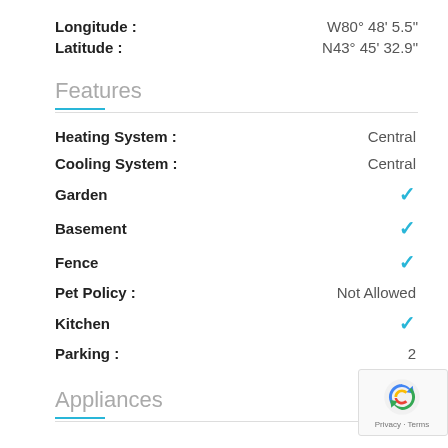Longitude : W80° 48' 5.5"
Latitude : N43° 45' 32.9"
Features
| Feature | Value |
| --- | --- |
| Heating System : | Central |
| Cooling System : | Central |
| Garden | ✓ |
| Basement | ✓ |
| Fence | ✓ |
| Pet Policy : | Not Allowed |
| Kitchen | ✓ |
| Parking : | 2 |
Appliances